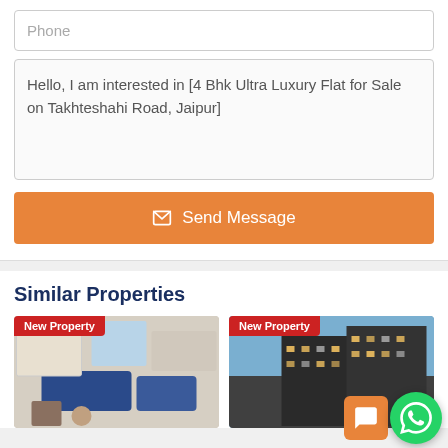Phone
Hello, I am interested in [4 Bhk Ultra Luxury Flat for Sale on Takhteshahi Road, Jaipur]
Send Message
Similar Properties
[Figure (photo): Property interior photo with blue sofa and artwork, labeled New Property]
[Figure (photo): High-rise building exterior at dusk, labeled New Property]